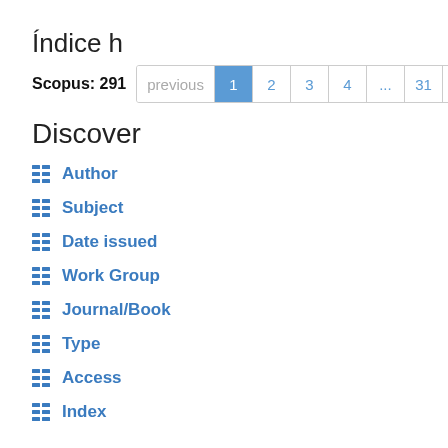Índice h
Scopus: 291
Discover
Author
Subject
Date issued
Work Group
Journal/Book
Type
Access
Index